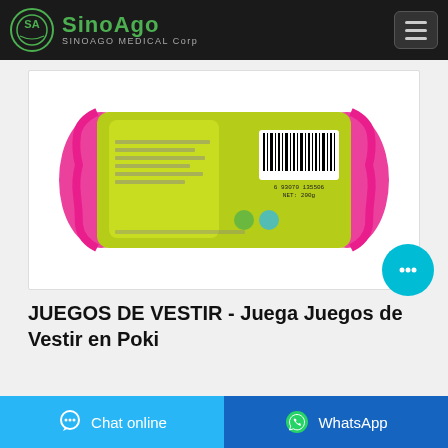[Figure (logo): SinoAgo Medical Corp logo with green circular emblem and text]
[Figure (photo): Product photo: back of a green and pink packaged soap/bar with barcode, NET 200g]
JUEGOS DE VESTIR - Juega Juegos de Vestir en Poki
[Figure (other): Cyan chat bubble button with ellipsis icon]
Chat online
WhatsApp